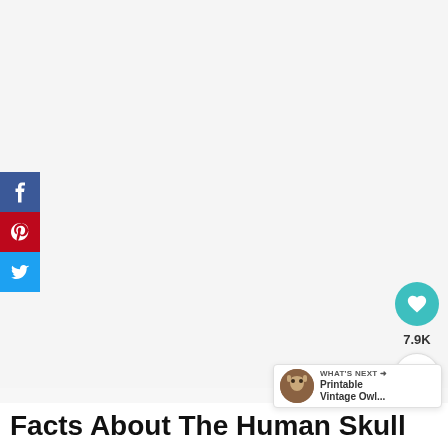[Figure (screenshot): White/light gray content area representing an image placeholder for a page about human skull facts]
[Figure (infographic): Social media share sidebar with Facebook (blue), Pinterest (red), and Twitter (blue) buttons on the left side]
[Figure (infographic): Like/save button (teal heart circle) showing 7.9K likes, and a share button (circle with share icon) on the right side]
[Figure (infographic): What's Next banner in bottom right: thumbnail image and text reading 'Printable Vintage Owl...']
Facts About The Human Skull